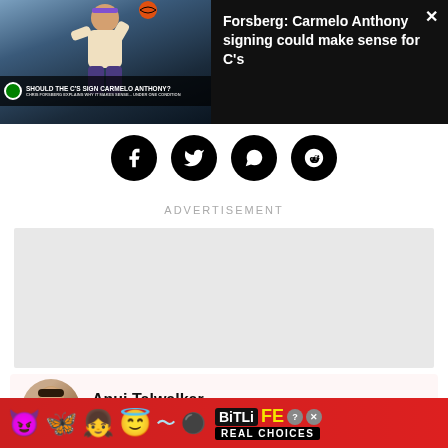[Figure (screenshot): Video thumbnail showing basketball player shooting, with overlay text 'SHOULD THE C'S SIGN CARMELO ANTHONY?' and Celtics logo. Next to it is the article title 'Forsberg: Carmelo Anthony signing could make sense for C's' on dark background with X close button.]
[Figure (infographic): Row of four social media share icons (Facebook, Twitter, WhatsApp, Reddit) as white symbols on black circles.]
ADVERTISEMENT
[Figure (other): Gray advertisement placeholder rectangle.]
[Figure (infographic): Author card with photo of Anuj Talwalkar, name 'Anuj Talwalkar', and '1343 articles' on light pink background.]
[Figure (other): BitLife advertisement banner with emoji characters and 'REAL CHOICES' text on red background.]